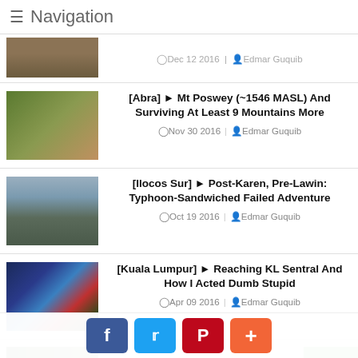Navigation
Dec 12 2016 | Edmar Guquib
[Abra] ► Mt Poswey (~1546 MASL) And Surviving At Least 9 Mountains More
Nov 30 2016 | Edmar Guquib
[Ilocos Sur] ► Post-Karen, Pre-Lawin: Typhoon-Sandwiched Failed Adventure
Oct 19 2016 | Edmar Guquib
[Kuala Lumpur] ► Reaching KL Sentral And How I Acted Dumb Stupid
Apr 09 2016 | Edmar Guquib
[Senang] ► Travel Drama In Kuala Lumpur...